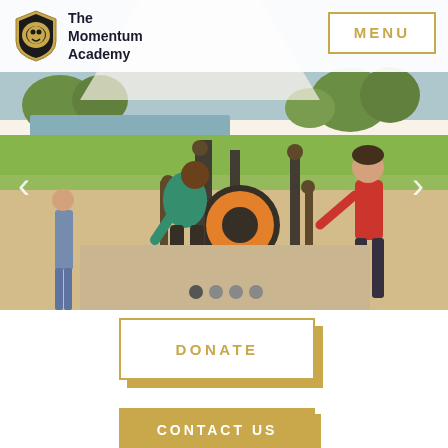[Figure (photo): Outdoor fitness equipment area with students exercising. A person in teal shirt uses elliptical-type equipment, another in red top uses equipment on right. Trees, grass, and a lake visible in background. White umbrella/canopy overhead. Greenfields branding on equipment.]
The Momentum Academy
MENU
DONATE
CONTACT US